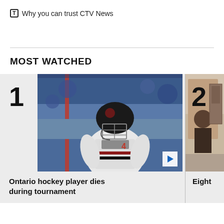Why you can trust CTV News
MOST WATCHED
[Figure (photo): Hockey player in white jersey with helmet and face guard on ice rink during tournament]
Ontario hockey player dies during tournament
[Figure (photo): Partial image of a second news story item, clipped at the right edge]
Eight